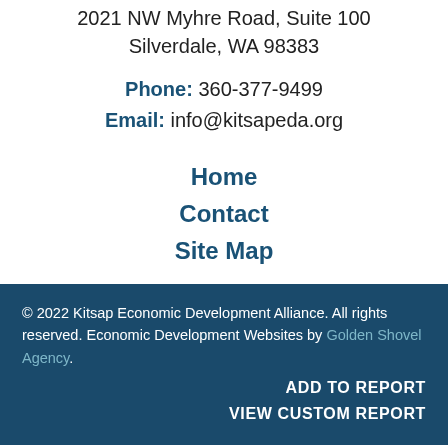2021 NW Myhre Road, Suite 100
Silverdale, WA 98383
Phone: 360-377-9499
Email: info@kitsapeda.org
Home
Contact
Site Map
© 2022 Kitsap Economic Development Alliance. All rights reserved. Economic Development Websites by Golden Shovel Agency.
ADD TO REPORT
VIEW CUSTOM REPORT